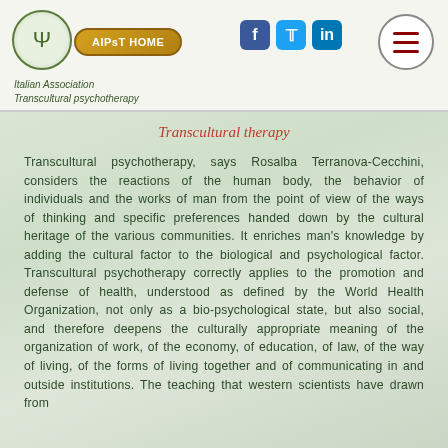[Figure (logo): Circular logo with psi symbol for Italian Association Transcultural Psychotherapy]
AIPsT HOME | Facebook | Twitter | LinkedIn | Menu | Italian Association Transcultural psychotherapy
Transcultural therapy
Transcultural psychotherapy, says Rosalba Terranova-Cecchini, considers the reactions of the human body, the behavior of individuals and the works of man from the point of view of the ways of thinking and specific preferences handed down by the cultural heritage of the various communities. It enriches man's knowledge by adding the cultural factor to the biological and psychological factor. Transcultural psychotherapy correctly applies to the promotion and defense of health, understood as defined by the World Health Organization, not only as a bio-psychological state, but also social, and therefore deepens the culturally appropriate meaning of the organization of work, of the economy, of education, of law, of the way of living, of the forms of living together and of communicating in and outside institutions. The teaching that western scientists have drawn from